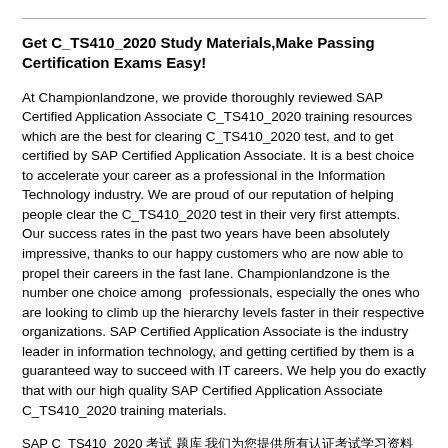Get C_TS410_2020 Study Materials,Make Passing Certification Exams Easy!
At Championlandzone, we provide thoroughly reviewed SAP Certified Application Associate C_TS410_2020 training resources which are the best for clearing C_TS410_2020 test, and to get certified by SAP Certified Application Associate. It is a best choice to accelerate your career as a professional in the Information Technology industry. We are proud of our reputation of helping people clear the C_TS410_2020 test in their very first attempts. Our success rates in the past two years have been absolutely impressive, thanks to our happy customers who are now able to propel their careers in the fast lane. Championlandzone is the number one choice among  professionals, especially the ones who are looking to climb up the hierarchy levels faster in their respective organizations. SAP Certified Application Associate is the industry leader in information technology, and getting certified by them is a guaranteed way to succeed with IT careers. We help you do exactly that with our high quality SAP Certified Application Associate C_TS410_2020 training materials.
SAP C_TS410_2020 考試 題庫 我們為您提供所有認證考試學習資料幫助您通過考試 Championlandzone SAP C_TS410_2020考試題庫是根據最新的考試相關理論知識進行出題的，